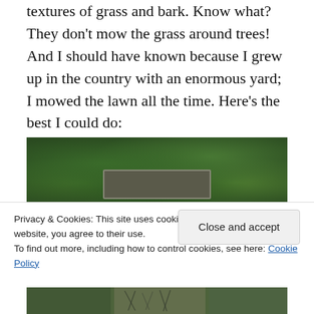textures of grass and bark. Know what? They don't mow the grass around trees! And I should have known because I grew up in the country with an enormous yard; I mowed the lawn all the time. Here's the best I could do:
[Figure (photo): A close-up photo of green leaves/foliage with a dark wooden sign visible at the bottom center of the image]
Privacy & Cookies: This site uses cookies. By continuing to use this website, you agree to their use.
To find out more, including how to control cookies, see here: Cookie Policy
Close and accept
[Figure (photo): A partial photo showing grass, trees and what appears to be a person, visible at the very bottom of the page]